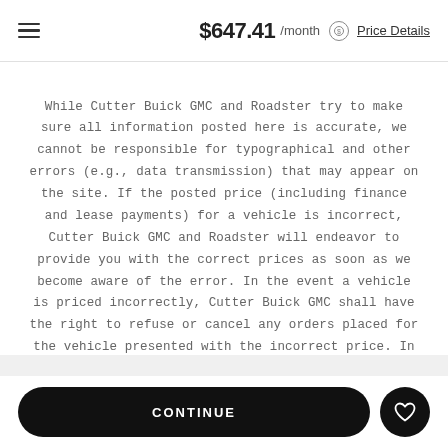$647.41 /month Price Details
While Cutter Buick GMC and Roadster try to make sure all information posted here is accurate, we cannot be responsible for typographical and other errors (e.g., data transmission) that may appear on the site. If the posted price (including finance and lease payments) for a vehicle is incorrect, Cutter Buick GMC and Roadster will endeavor to provide you with the correct prices as soon as we become aware of the error. In the event a vehicle is priced incorrectly, Cutter Buick GMC shall have the right to refuse or cancel any orders placed for the vehicle presented with the incorrect price. In addition, vehicle prices are subject to change and all vehicles are subject to prior sale and may not be available when you are ready to purchase.
CONTINUE